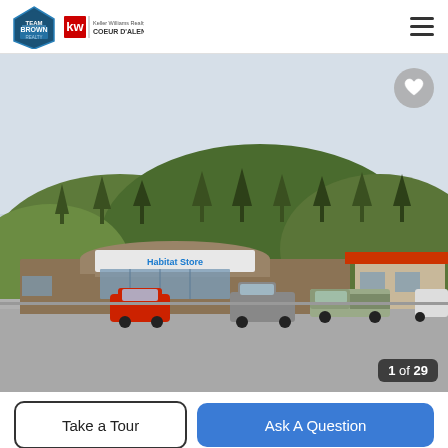Team Brown | KW Keller Williams Realty Coeur d'Alene
[Figure (photo): Street-level photo of a commercial building with a Habitat for Humanity Store sign and a red roof annex building, parked trucks in front, forested hill in background]
1 of 29
Take a Tour
Ask A Question